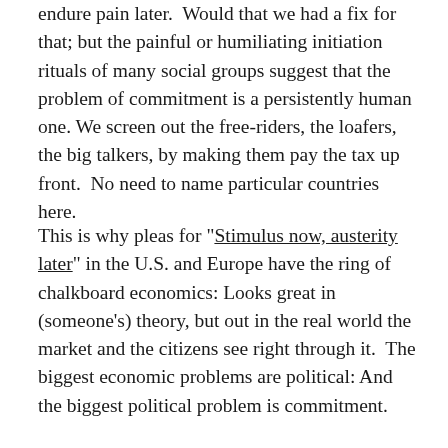endure pain later.  Would that we had a fix for that; but the painful or humiliating initiation rituals of many social groups suggest that the problem of commitment is a persistently human one. We screen out the free-riders, the loafers, the big talkers, by making them pay the tax up front.  No need to name particular countries here.
This is why pleas for "Stimulus now, austerity later" in the U.S. and Europe have the ring of chalkboard economics: Looks great in (someone's) theory, but out in the real world the market and the citizens see right through it.  The biggest economic problems are political: And the biggest political problem is commitment.